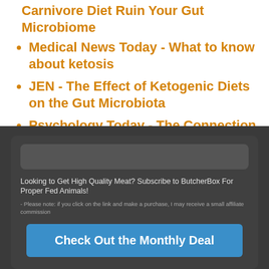Carnivore Diet Ruin Your Gut Microbiome
Medical News Today - What to know about ketosis
JEN - The Effect of Ketogenic Diets on the Gut Microbiota
Psychology Today - The Connection Between Sugar and Your Gut
Looking to Get High Quality Meat? Subscribe to ButcherBox For Proper Fed Animals!
- Please note: if you click on the link and make a purchase, I may receive a small affiliate commission
Check Out the Monthly Deal